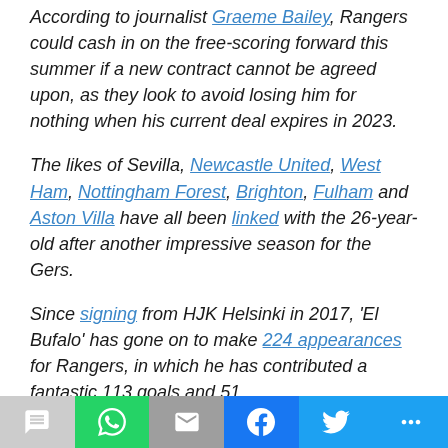According to journalist Graeme Bailey, Rangers could cash in on the free-scoring forward this summer if a new contract cannot be agreed upon, as they look to avoid losing him for nothing when his current deal expires in 2023.
The likes of Sevilla, Newcastle United, West Ham, Nottingham Forest, Brighton, Fulham and Aston Villa have all been linked with the 26-year-old after another impressive season for the Gers.
Since signing from HJK Helsinki in 2017, 'El Bufalo' has gone on to make 224 appearances for Rangers, in which he has contributed a fantastic 113 goals and 51
[Figure (infographic): Social media share bar with icons for SMS, WhatsApp, Email, Facebook, Twitter, and more]